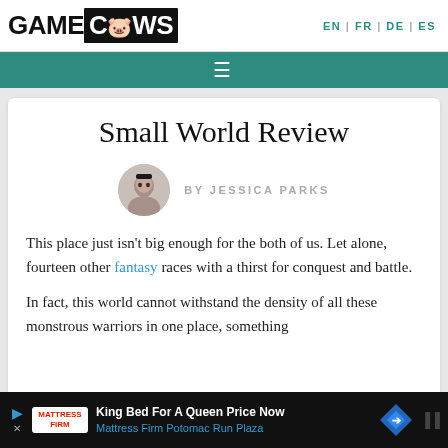GAMECOWS  EN | FR | DE | ES
[Figure (other): Teal navigation bar with hamburger menu icon]
Small World Review
[Figure (photo): Circular author avatar photo of a woman (Jessica Parks)]
BY JESSICA PARKS
This place just isn't big enough for the both of us. Let alone, fourteen other fantasy races with a thirst for conquest and battle.
In fact, this world cannot withstand the density of all these monstrous warriors in one place, something
[Figure (other): Advertisement banner: King Bed For A Queen Price Now - Mattress Firm Potomac Run Plaza]